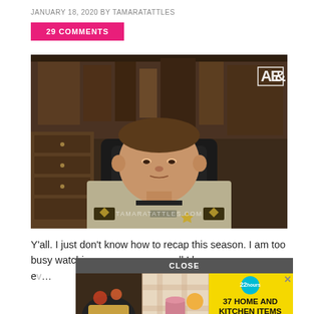JANUARY 18, 2020 BY TAMARATATTLES
29 COMMENTS
[Figure (photo): A sheriff in uniform sitting in a leather office chair in front of wooden bookshelves. An A&E network logo appears in the upper right corner. A TAMARATATTLES.COM watermark is visible at the bottom.]
Y'all. I just don't know how to recap this season. I am too busy watching… all I have e… her cell on… man the […
CLOSE
[Figure (photo): Advertisement overlay showing two food images on the left (decorated hot dogs and an orange with a pink tumbler cup) and yellow ad text area on the right reading '37 HOME AND KITCHEN ITEMS EVERYONE SHOULD OWN' with a teal '22 hours' badge.]
37 HOME AND KITCHEN ITEMS EVERYONE SHOULD OWN